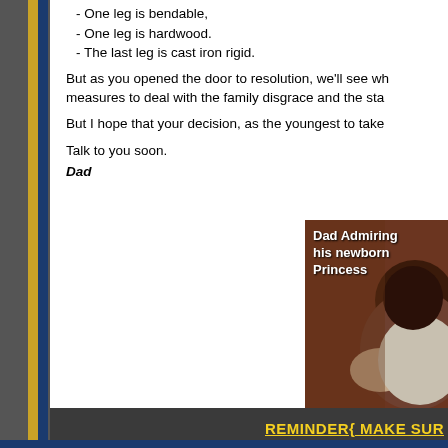- One leg is bendable,
- One leg is hardwood.
- The last leg is cast iron rigid.
But as you opened the door to resolution, we'll see wh measures to deal with the family disgrace and the sta
But I hope that your decision, as the youngest to take
Talk to you soon.
Dad
[Figure (photo): A man admiring his newborn baby, holding the infant close, with text overlay reading 'Dad Admiring his newborn Princess']
REMINDER{ MAKE SUR